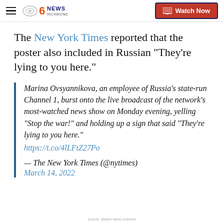CBS 6 News Richmond | Watch Now
The New York Times reported that the poster also included in Russian "They're lying to you here."
Marina Ovsyannikova, an employee of Russia's state-run Channel 1, burst onto the live broadcast of the network's most-watched news show on Monday evening, yelling "Stop the war!" and holding up a sign that said "They're lying to you here." https://t.co/4lLFtZ27Po

— The New York Times (@nytimes)
March 14, 2022
Source: Station name unknown